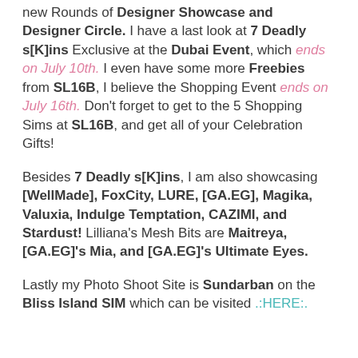new Rounds of Designer Showcase and Designer Circle. I have a last look at 7 Deadly s[K]ins Exclusive at the Dubai Event, which ends on July 10th. I even have some more Freebies from SL16B, I believe the Shopping Event ends on July 16th. Don't forget to get to the 5 Shopping Sims at SL16B, and get all of your Celebration Gifts!
Besides 7 Deadly s[K]ins, I am also showcasing [WellMade], FoxCity, LURE, [GA.EG], Magika, Valuxia, Indulge Temptation, CAZIMI, and Stardust! Lilliana's Mesh Bits are Maitreya, [GA.EG]'s Mia, and [GA.EG]'s Ultimate Eyes.
Lastly my Photo Shoot Site is Sundarban on the Bliss Island SIM which can be visited .:HERE:.